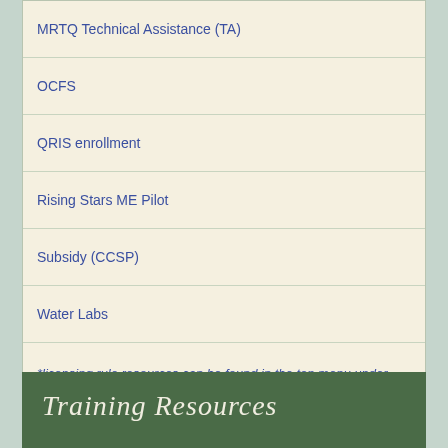MRTQ Technical Assistance (TA)
OCFS
QRIS enrollment
Rising Stars ME Pilot
Subsidy (CCSP)
Water Labs
*licensing rule resources can be found in the top menu under Licensing Rule and Business Toolkit
Training Resources